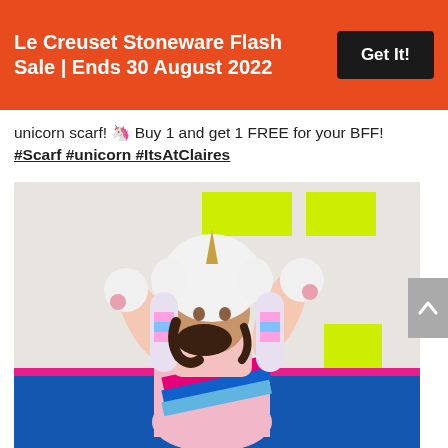Le Creuset Stoneware Flash Sale | Ends 30 August 2022
Get It!
unicorn scarf! 🦄 Buy 1 and get 1 FREE for your BFF! #Scarf #unicorn #ItsAtClaires
[Figure (photo): A girl wearing a unicorn scarf/hat costume with white fluffy hood with horn, holding paws up, wearing a pink pleated skirt with colorful stripe sash (hot pink, blue, light blue), photographed against a white brick wall with colorful neon yellow, orange colored rectangles, and a blue painted wall bottom section with pink stripe.]